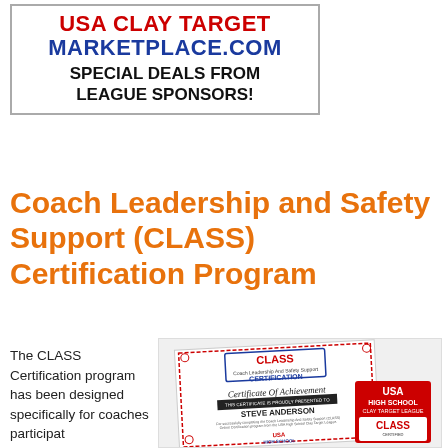[Figure (illustration): USA Clay Target Marketplace.com advertisement banner showing red and blue text with 'SPECIAL DEALS FROM LEAGUE SPONSORS!']
Coach Leadership and Safety Support (CLASS) Certification Program
The CLASS Certification program has been designed specifically for coaches participat
[Figure (illustration): CLASS Certificate of Achievement issued to Steve Anderson, with USA High School Clay Target League logo and CLASS Certified badge]